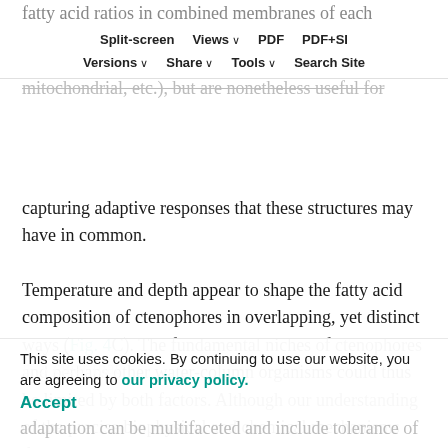fatty acid ratios in combined membranes of each animal. As whole-tissue data, they are unlikely to reflect the makeup of any particular membrane (cytoplasmic, mitochondrial, etc.), but are nonetheless useful for capturing adaptive responses that these structures may have in common.
Split-screen  Views  PDF  PDF+SI  Versions  Share  Tools  Search Site
Temperature and depth appear to shape the fatty acid composition of ctenophores in overlapping, yet distinct ways (Fig. 4C). The fundamental niches of ctenophores and perhaps other water-column organisms could thus be limited by both factors. Although our understanding of the precise biophysical and chemical mechanisms that set
This site uses cookies. By continuing to use our website, you are agreeing to our privacy policy. Accept
adaptation can be multifaceted and include tolerance of